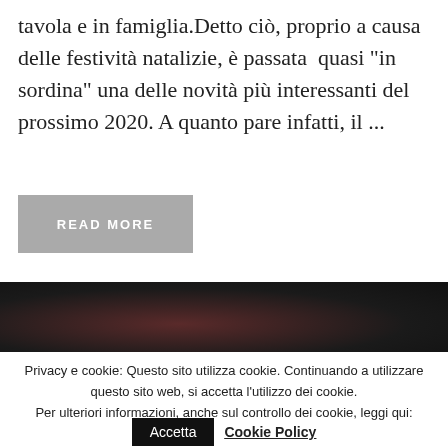tavola e in famiglia.Detto ciò, proprio a causa delle festività natalizie, è passata  quasi "in sordina" una delle novità più interessanti del prossimo 2020. A quanto pare infatti, il ...
READ MORE
[Figure (photo): Dark image, mostly black with faint reddish tones, partial view of an object]
Privacy e cookie: Questo sito utilizza cookie. Continuando a utilizzare questo sito web, si accetta l'utilizzo dei cookie.
Per ulteriori informazioni, anche sul controllo dei cookie, leggi qui:
Accetta   Cookie Policy